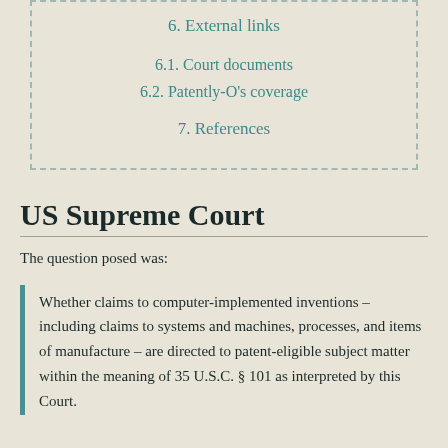6. External links
6.1. Court documents
6.2. Patently-O's coverage
7. References
US Supreme Court
The question posed was:
Whether claims to computer-implemented inventions – including claims to systems and machines, processes, and items of manufacture – are directed to patent-eligible subject matter within the meaning of 35 U.S.C. § 101 as interpreted by this Court.